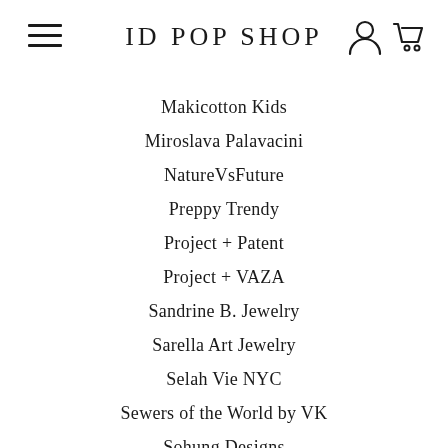ID POP SHOP
Makicotton Kids
Miroslava Palavacini
NatureVsFuture
Preppy Trendy
Project + Patent
Project + VAZA
Sandrine B. Jewelry
Sarella Art Jewelry
Selah Vie NYC
Sewers of the World by VK
Sohung Designs
Sonja Fries Jewelry